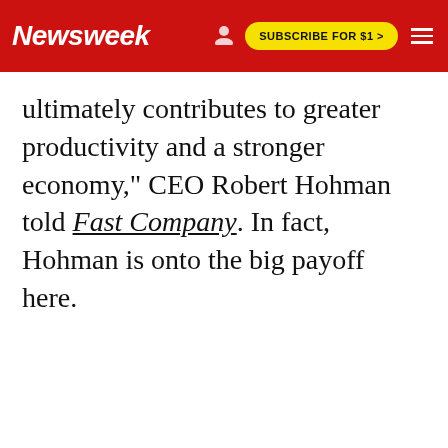Newsweek   SUBSCRIBE FOR $1 >
ultimately contributes to greater productivity and a stronger economy," CEO Robert Hohman told Fast Company. In fact, Hohman is onto the big payoff here.